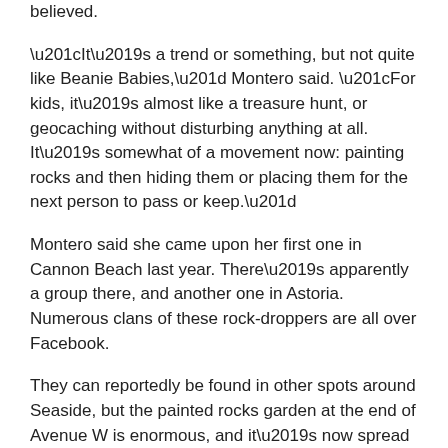believed.
“It’s a trend or something, but not quite like Beanie Babies,” Montero said. “For kids, it’s almost like a treasure hunt, or geocaching without disturbing anything at all. It’s somewhat of a movement now: painting rocks and then hiding them or placing them for the next person to pass or keep.”
Montero said she came upon her first one in Cannon Beach last year. There’s apparently a group there, and another one in Astoria. Numerous clans of these rock-droppers are all over Facebook.
They can reportedly be found in other spots around Seaside, but the painted rocks garden at the end of Avenue W is enormous, and it’s now spread to both sides of the pathway to the beach.
“You’ve never seen so many painted rocks in your life,” Montero said. “The family’s been keeping them up for years.”
How long they’ve been doing it depends on who you talk to. Some say it goes back farther than the 1980s. Whatever the case, it seems others have joined in. The layers of these beach stones keep growing.
In the meantime, it’s a pleasant but slightly secretive mystery. While the movement of painted rocks continues to grow,